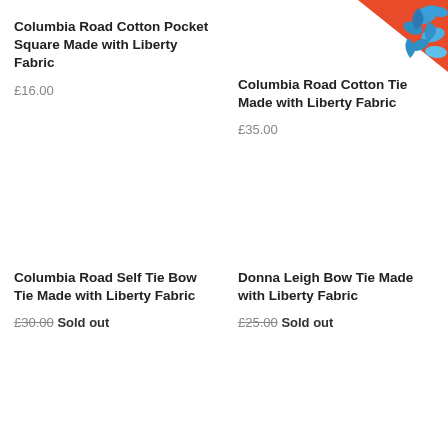[Figure (photo): Partial view of a colorful floral fabric tie in blue and orange/red tones, shown in top right corner]
Columbia Road Cotton Pocket Square Made with Liberty Fabric
£16.00
Columbia Road Cotton Tie Made with Liberty Fabric
£35.00
Donna Leigh Bow Tie Made with Liberty Fabric
£25.00 Sold out
Columbia Road Self Tie Bow Tie Made with Liberty Fabric
£30.00 Sold out